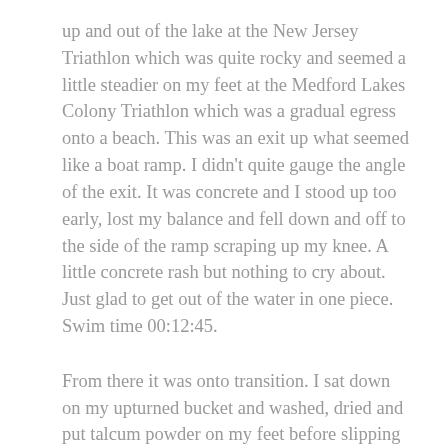up and out of the lake at the New Jersey Triathlon which was quite rocky and seemed a little steadier on my feet at the Medford Lakes Colony Triathlon which was a gradual egress onto a beach. This was an exit up what seemed like a boat ramp. I didn't quite gauge the angle of the exit. It was concrete and I stood up too early, lost my balance and fell down and off to the side of the ramp scraping up my knee. A little concrete rash but nothing to cry about. Just glad to get out of the water in one piece. Swim time 00:12:45.
From there it was onto transition. I sat down on my upturned bucket and washed, dried and put talcum powder on my feet before slipping on my Injinji socks and my bike shoes and headed out of the transition with the road bike.
This was a much better experience than my two